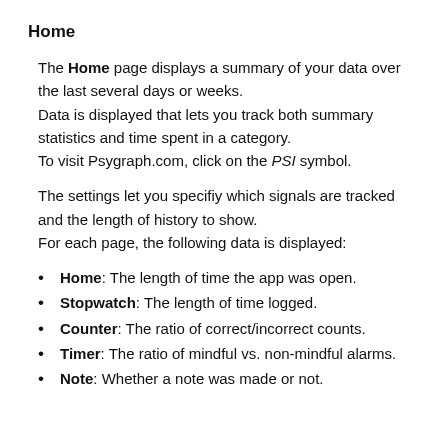Home
The Home page displays a summary of your data over the last several days or weeks.
Data is displayed that lets you track both summary statistics and time spent in a category.
To visit Psygraph.com, click on the PSI symbol.
The settings let you specifiy which signals are tracked and the length of history to show.
For each page, the following data is displayed:
Home: The length of time the app was open.
Stopwatch: The length of time logged.
Counter: The ratio of correct/incorrect counts.
Timer: The ratio of mindful vs. non-mindful alarms.
Note: Whether a note was made or not.